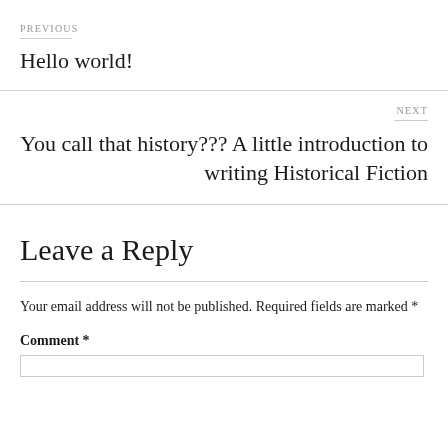PREVIOUS
Hello world!
NEXT
You call that history??? A little introduction to writing Historical Fiction
Leave a Reply
Your email address will not be published. Required fields are marked *
Comment *